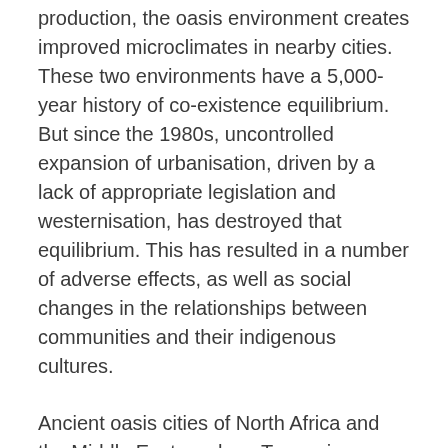production, the oasis environment creates improved microclimates in nearby cities. These two environments have a 5,000-year history of co-existence equilibrium. But since the 1980s, uncontrolled expansion of urbanisation, driven by a lack of appropriate legislation and westernisation, has destroyed that equilibrium. This has resulted in a number of adverse effects, as well as social changes in the relationships between communities and their indigenous cultures.
Ancient oasis cities of North Africa and the Middle East, such as Tozeur in Tunisia, Siwa Oasis in Egypt, Nizwa Oasis in Oman and Liwa Oasis in the United Arab Emirates, offer compelling stories of self-sustaining models of urban in oasis agriculture. Examples of such...